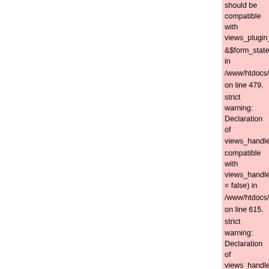should be compatible with views_plugin_display::options_su &$form_state) in /www/htdocs/w00a0464/drupal/sites/all/modules/views/plugi on line 479. strict warning: Declaration of views_handler_field_broken::u compatible with views_handler::ui_name($short = false) in /www/htdocs/w00a0464/drupal/sites/all/modules/views/hand on line 615. strict warning: Declaration of views_handler_argument::init() compatible with views_handler::init(&$view, $options) in /www/htdocs/w00a0464/drupal/sites/all/modules/views/hand on line 735. strict warning: Declaration of views_handler_argument_brok should be compatible with views_handler::ui_name($short = /www/htdocs/w00a0464/drupal/sites/all/modules/views/hand on line 760. strict warning: Declaration of views_handler_filter::options_v compatible with views_handler::options_validate($form, &$fo /www/htdocs/w00a0464/drupal/sites/all/modules/views/hand on line 585. strict warning: Declaration of views_handler_filter::options_s compatible with views_handler::options_submit($form, &$fo /www/htdocs/w00a0464/drupal/sites/all/modules/views/hand on line 585. strict warning: Declaration of views_handler_filter_broken::u compatible with views_handler::ui_name($short = false) in /www/htdocs/w00a0464/drupal/sites/all/modules/views/hand on line 609. strict warning: Declaration of views_plugin_style_default::op compatible with views_object::options() in /www/htdocs/w00a0464/drupal/sites/all/modules/views/plugi